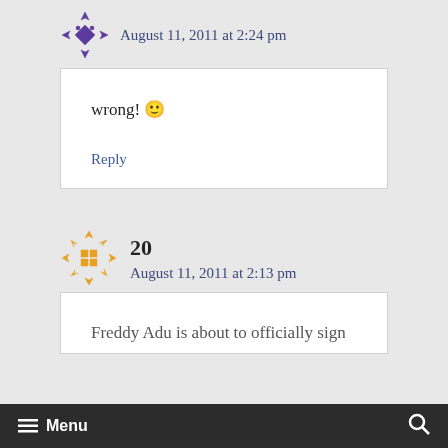August 11, 2011 at 2:24 pm
wrong! 🙂
Reply
20
August 11, 2011 at 2:13 pm
Freddy Adu is about to officially sign
≡ Menu 🔍